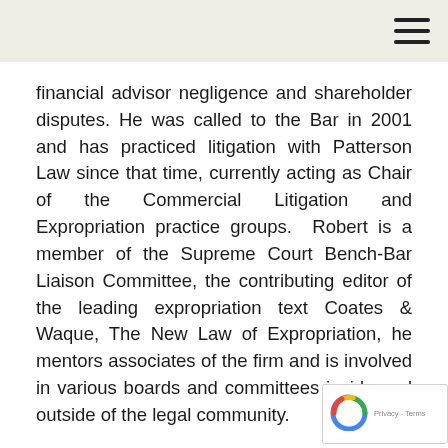financial advisor negligence and shareholder disputes. He was called to the Bar in 2001 and has practiced litigation with Patterson Law since that time, currently acting as Chair of the Commercial Litigation and Expropriation practice groups.  Robert is a member of the Supreme Court Bench-Bar Liaison Committee, the contributing editor of the leading expropriation text Coates & Waque, The New Law of Expropriation, he mentors associates of the firm and is involved in various boards and committees inside and outside of the legal community.
Rob is one of the preeminent expropriation lawyers in Atlantic Canada.  Rob also practices extensively in the area of property-related litigation: easements disputes, contests over title, adverse possession